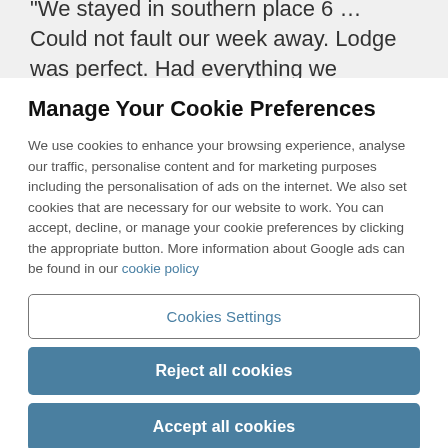“We stayed in southern place 6 … Could not fault our week away. Lodge was perfect. Had everything we
Manage Your Cookie Preferences
We use cookies to enhance your browsing experience, analyse our traffic, personalise content and for marketing purposes including the personalisation of ads on the internet. We also set cookies that are necessary for our website to work. You can accept, decline, or manage your cookie preferences by clicking the appropriate button. More information about Google ads can be found in our cookie policy
Cookies Settings
Reject all cookies
Accept all cookies